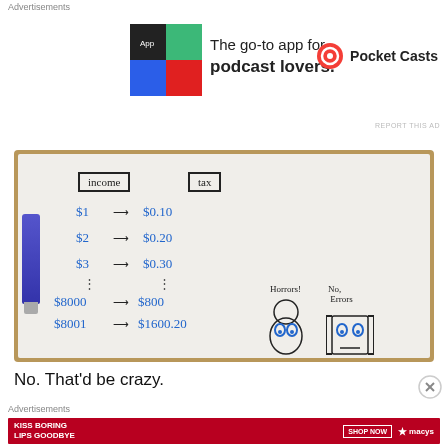Advertisements
[Figure (photo): Pocket Casts app advertisement banner: colorful app icon on left, text 'The go-to app for podcast lovers.' in center, Pocket Casts logo and name on right]
[Figure (photo): Whiteboard showing income vs tax table: $1→$0.10, $2→$0.20, $3→$0.30, ..., $8000→$800, $8001→$1600.20. On right side two cartoon figures labeled 'Horrors!' and 'No, Errors']
No. That'd be crazy.
Advertisements
[Figure (photo): Macy's advertisement banner: 'KISS BORING LIPS GOODBYE' with woman's face, 'SHOP NOW' button and Macy's star logo on red background]